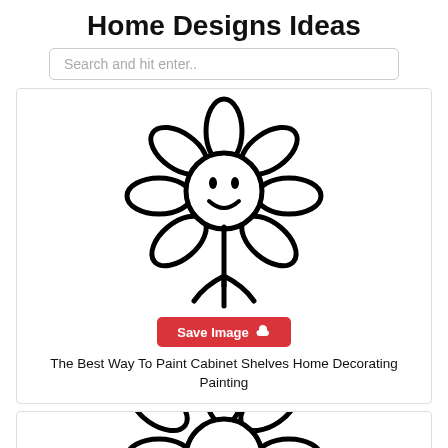Home Designs Ideas
Search and hit enter..
[Figure (illustration): Simple black and white line drawing of a cartoon flower with a smiley face center and petals, with a stem and roots at the bottom]
Save Image
The Best Way To Paint Cabinet Shelves Home Decorating Painting
[Figure (illustration): Partial view of another similar cartoon flower illustration, cropped at bottom of page]